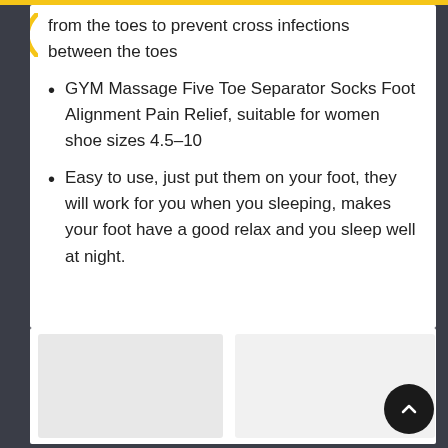from the toes to prevent cross infections between the toes
GYM Massage Five Toe Separator Socks Foot Alignment Pain Relief, suitable for women shoe sizes 4.5-10
Easy to use, just put them on your foot, they will work for you when you sleeping, makes your foot have a good relax and you sleep well at night.
[Figure (photo): Blurred product image placeholder at bottom of page]